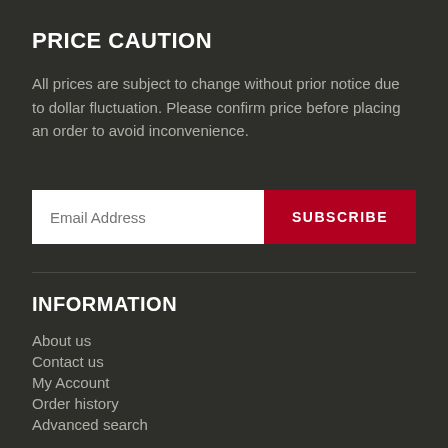PRICE CAUTION
All prices are subject to change without prior notice due to dollar fluctuation. Please confirm price before placing an order to avoid inconvenience.
[Figure (other): Email address input field with Subscribe button]
INFORMATION
About us
Contact us
My Account
Order history
Advanced search